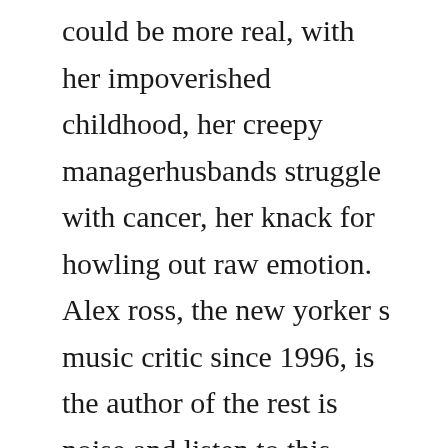could be more real, with her impoverished childhood, her creepy managerhusbands struggle with cancer, her knack for howling out raw emotion. Alex ross, the new yorker s music critic since 1996, is the author of the rest is noise and listen to this. Free pdf ebooks users guide, manuals, sheets about alex ross the rest is noise pdf ready for download. The rest is noise ebook, read the rest is noise listening to the twentieth century by alex ross available from rakuten kobo. Alex rosss enthralling history of 20thcentury music is,